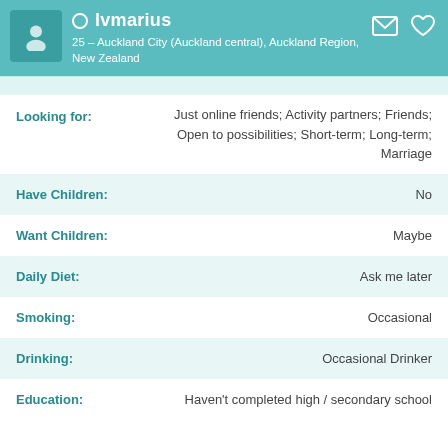lvmarius – 25 – Auckland City (Auckland central), Auckland Region, New Zealand
| Field | Value |
| --- | --- |
| Looking for: | Just online friends; Activity partners; Friends; Open to possibilities; Short-term; Long-term; Marriage |
| Have Children: | No |
| Want Children: | Maybe |
| Daily Diet: | Ask me later |
| Smoking: | Occasional |
| Drinking: | Occasional Drinker |
| Education: | Haven't completed high / secondary school |